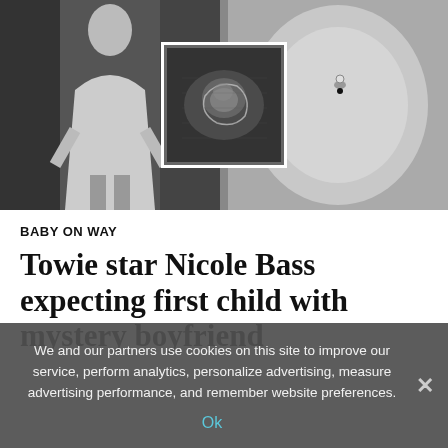[Figure (photo): Composite image: left side shows a woman in a white dress (black and white photo), center shows an ultrasound scan image in a white-bordered box, right side shows a close-up of a pregnant belly with a belly button piercing (black and white photo).]
BABY ON WAY
Towie star Nicole Bass expecting first child with mystery boyfriend
We and our partners use cookies on this site to improve our service, perform analytics, personalize advertising, measure advertising performance, and remember website preferences.
Ok